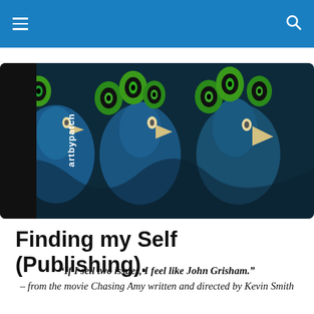artbypatch
[Figure (illustration): Banner image showing multiple illustrated peacocks with blue-green plumage and decorative feathers arranged side by side. A black vertical strip on the left contains the site logo text 'artbypatch' written vertically.]
Finding my Self (Publishing).
“If I sell two issues, I feel like John Grisham.” – from the movie Chasing Amy written and directed by Kevin Smith